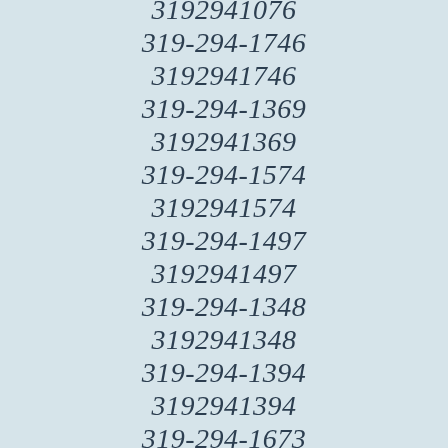319-294-1076
3192941076
319-294-1746
3192941746
319-294-1369
3192941369
319-294-1574
3192941574
319-294-1497
3192941497
319-294-1348
3192941348
319-294-1394
3192941394
319-294-1673
3192941673